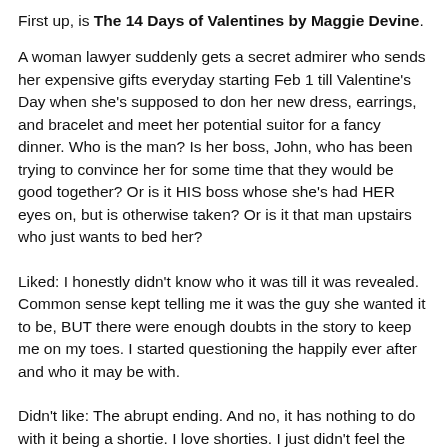First up, is The 14 Days of Valentines by Maggie Devine.
A woman lawyer suddenly gets a secret admirer who sends her expensive gifts everyday starting Feb 1 till Valentine's Day when she's supposed to don her new dress, earrings, and bracelet and meet her potential suitor for a fancy dinner. Who is the man? Is her boss, John, who has been trying to convince her for some time that they would be good together? Or is it HIS boss whose she's had HER eyes on, but is otherwise taken? Or is it that man upstairs who just wants to bed her?
Liked: I honestly didn't know who it was till it was revealed. Common sense kept telling me it was the guy she wanted it to be, BUT there were enough doubts in the story to keep me on my toes. I started questioning the happily ever after and who it may be with.
Didn't like: The abrupt ending. And no, it has nothing to do with it being a shortie. I love shorties. I just didn't feel the